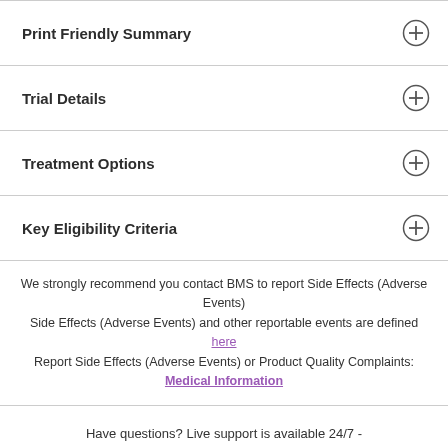Print Friendly Summary
Trial Details
Treatment Options
Key Eligibility Criteria
We strongly recommend you contact BMS to report Side Effects (Adverse Events)
Side Effects (Adverse Events) and other reportable events are defined here
Report Side Effects (Adverse Events) or Product Quality Complaints: Medical Information
Have questions? Live support is available 24/7 -